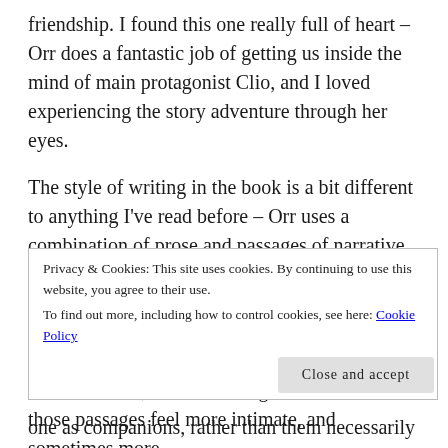friendship. I found this one really full of heart – Orr does a fantastic job of getting us inside the mind of main protagonist Clio, and I loved experiencing the story adventure through her eyes.
The style of writing in the book is a bit different to anything I've read before – Orr uses a combination of prose and passages of narrative poetry. It took me a few pages to get used to the poetry, but once I got into the flow of it I felt like it really added to the reading experience. The verses of poetry almost feel like stream of consciousness, and something about this made those passages feel more intimate, and sometimes more
Privacy & Cookies: This site uses cookies. By continuing to use this website, you agree to their use.
To find out more, including how to control cookies, see here: Cookie Policy
Close and accept
one as companions, rather than them necessarily